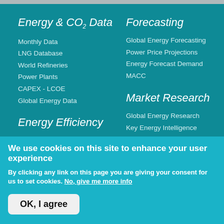Energy & CO₂ Data
Monthly Data
LNG Database
World Refineries
Power Plants
CAPEX - LCOE
Global Energy Data
Energy Efficiency
Energy Demand
Odyssee
Forecasting
Global Energy Forecasting
Power Price Projections
Energy Forecast Demand
MACC
Market Research
Global Energy Research
Key Energy Intelligence
Expertise
Consulting
We use cookies on this site to enhance your user experience
By clicking any link on this page you are giving your consent for us to set cookies. No, give me more info
OK, I agree